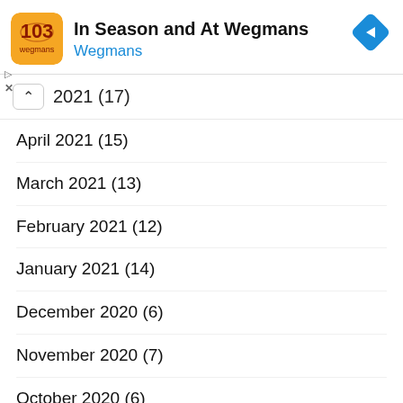In Season and At Wegmans
Wegmans
2021 (17)
April 2021 (15)
March 2021 (13)
February 2021 (12)
January 2021 (14)
December 2020 (6)
November 2020 (7)
October 2020 (6)
September 2020 (8)
August 2020 (6)
July 2020 (3)